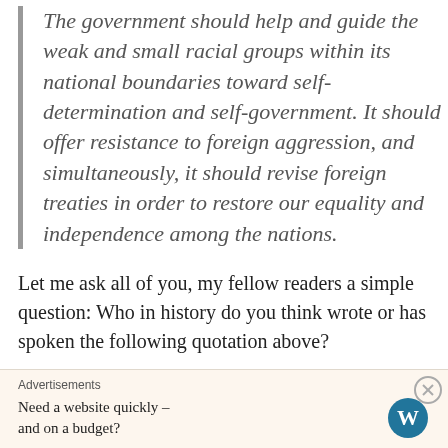The government should help and guide the weak and small racial groups within its national boundaries toward self-determination and self-government. It should offer resistance to foreign aggression, and simultaneously, it should revise foreign treaties in order to restore our equality and independence among the nations.
Let me ask all of you, my fellow readers a simple question: Who in history do you think wrote or has spoken the following quotation above?
Advertisements
Need a website quickly – and on a budget?